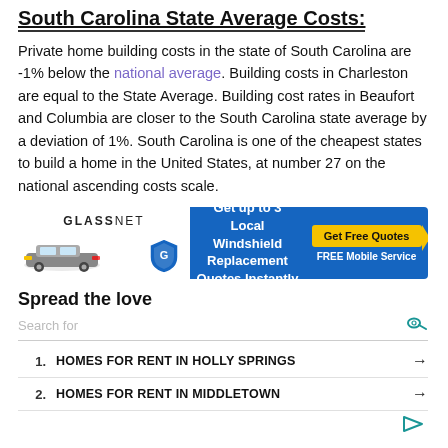South Carolina State Average Costs:
Private home building costs in the state of South Carolina are -1% below the national average. Building costs in Charleston are equal to the State Average. Building cost rates in Beaufort and Columbia are closer to the South Carolina state average by a deviation of 1%. South Carolina is one of the cheapest states to build a home in the United States, at number 27 on the national ascending costs scale.
[Figure (other): Advertisement banner for Glass.net windshield replacement service. Shows a car, Glass.net logo, text: Get up to 3 Local Windshield Replacement Quotes Instantly, with a yellow Get Free Quotes button and FREE Mobile Service text.]
Spread the love
|  | Search |  |
| --- | --- | --- |
| 1. | HOMES FOR RENT IN HOLLY SPRINGS | → |
| 2. | HOMES FOR RENT IN MIDDLETOWN | → |